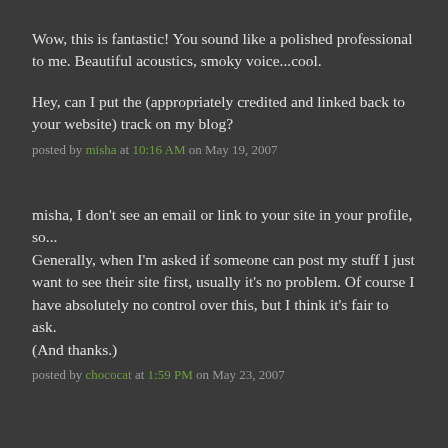Wow, this is fantastic! You sound like a polished professional to me. Beautiful acoustics, smoky voice...cool.
Hey, can I put the (appropriately credited and linked back to your website) track on my blog?
posted by misha at 10:16 AM on May 19, 2007
misha, I don't see an email or link to your site in your profile, so...
Generally, when I'm asked if someone can post my stuff I just want to see their site first, usually it's no problem. Of course I have absolutely no control over this, but I think it's fair to ask.
(And thanks.)
posted by chococat at 1:59 PM on May 23, 2007